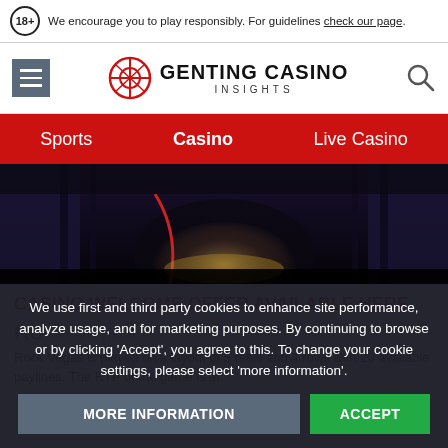We encourage you to play responsibly. For guidelines check our page.
[Figure (logo): Genting Casino Insights logo with hamburger menu and search icon]
Sports  Casino  Live Casino
[Figure (photo): Dark atmospheric casino corridor with warm golden light and red rope]
CASINO WELCOME OFFER AVAILABLE HERE
Rock Vegas is played on a layout of 5 reels and 4 rows with 20 available paylines. The RTP of the game is at
We use first and third party cookies to enhance site performance, analyze usage, and for marketing purposes. By continuing to browse or by clicking 'Accept', you agree to this. To change your cookie settings, please select 'more information'.